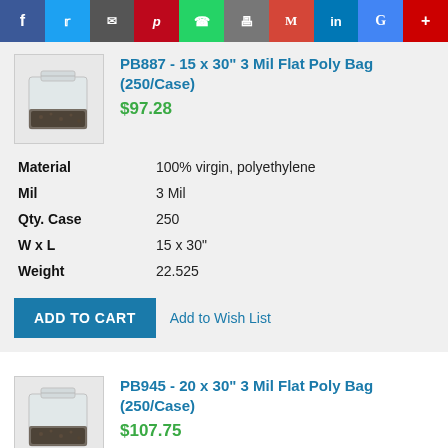Social share bar: Facebook, Twitter, Email, Pinterest, WhatsApp, Print, Gmail, LinkedIn, Google, More
[Figure (photo): Product photo of PB887 15x30 inch 3 Mil Flat Poly Bag, clear plastic bag filled with dark material]
PB887 - 15 x 30" 3 Mil Flat Poly Bag (250/Case)
$97.28
| Property | Value |
| --- | --- |
| Material | 100% virgin, polyethylene |
| Mil | 3 Mil |
| Qty. Case | 250 |
| W x L | 15 x 30" |
| Weight | 22.525 |
ADD TO CART  Add to Wish List
[Figure (photo): Product photo of PB945 20x30 inch 3 Mil Flat Poly Bag, clear plastic bag filled with dark material]
PB945 - 20 x 30" 3 Mil Flat Poly Bag (250/Case)
$107.75